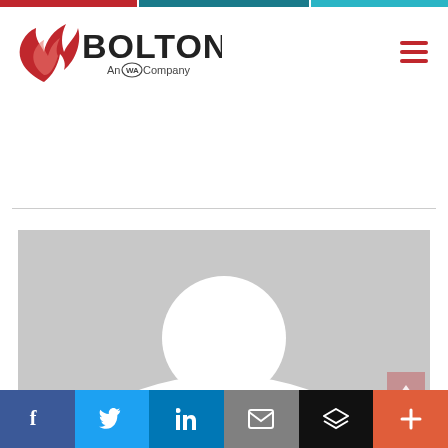[Figure (logo): Bolton An WA Company logo with red flame icon and bold BOLTON text]
[Figure (photo): Placeholder profile photo with gray background and white head/shoulders silhouette]
[Figure (infographic): Social media share bar with Facebook, Twitter, LinkedIn, Email, Layers, and Plus buttons]